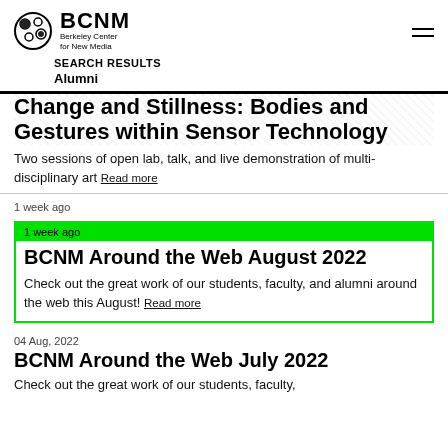BCNM Berkeley Center for New Media
SEARCH RESULTS
Alumni
Change and Stillness: Bodies and Gestures within Sensor Technology
Two sessions of open lab, talk, and live demonstration of multi-disciplinary art Read more
1 week ago
BCNM Around the Web August 2022
Check out the great work of our students, faculty, and alumni around the web this August! Read more
04 Aug, 2022
BCNM Around the Web July 2022
Check out the great work of our students, faculty,